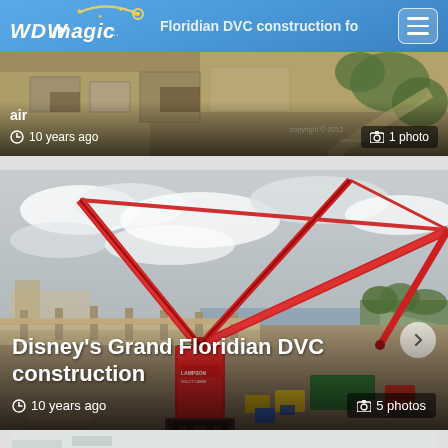WDWmagic.com - navigation header
[Figure (photo): Aerial view of Disney's Grand Floridian DVC construction site from the air, showing construction from above]
air
10 years ago | 1 photo
[Figure (photo): Ground-level construction photo of Disney's Grand Floridian DVC showing large red crane over construction site with equipment and materials scattered around]
Disney's Grand Floridian DVC construction
10 years ago | 5 photos